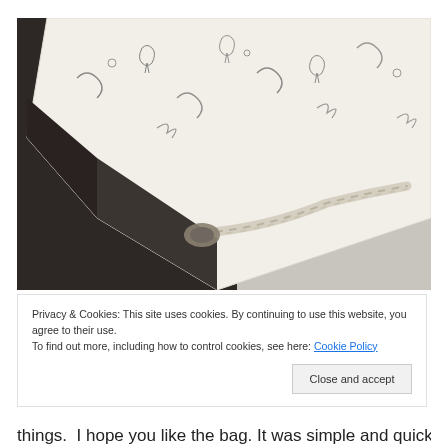[Figure (photo): Close-up photo of a white fabric bag with black illustrated pattern (figures/music notes), showing the corner where a twisted white/cream rope cord is attached. Dark fabric lining visible underneath.]
Privacy & Cookies: This site uses cookies. By continuing to use this website, you agree to their use.
To find out more, including how to control cookies, see here: Cookie Policy
Close and accept
things.  I hope you like the bag. It was simple and quick